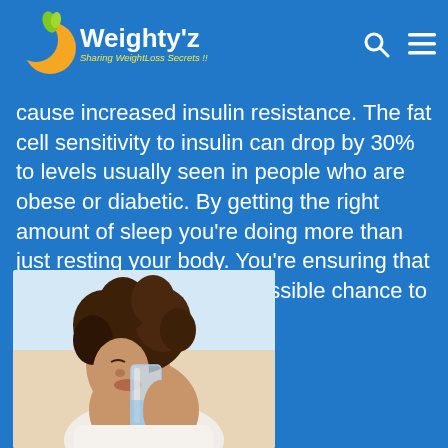Weighty'z — Sharing WeightLoss Secrets !!
cause increased insulin resistance. The fat cell sensitivity to insulin can drop by 30% to levels usually seen in people who are obese or diabetic. By getting the right amount of sleep you're doing more than just resting your body. You're ensuring that your body has the best possible chance to lose weight.
[Figure (photo): A woman with curly hair drinking water from a glass bottle against a light background]